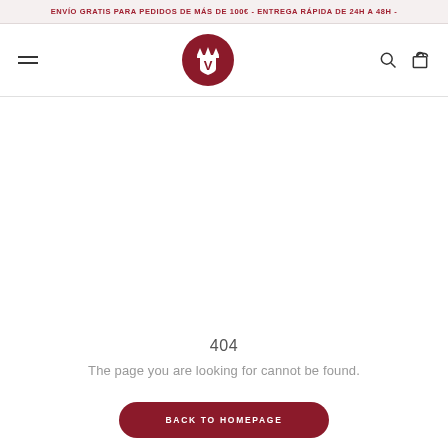ENVÍO GRATIS PARA PEDIDOS DE MÁS DE 100€ - ENTREGA RÁPIDA DE 24H A 48H -
[Figure (logo): Red circular logo with crown and shield containing letter V, with hamburger menu icon on left and search/cart icons on right]
404
The page you are looking for cannot be found.
BACK TO HOMEPAGE